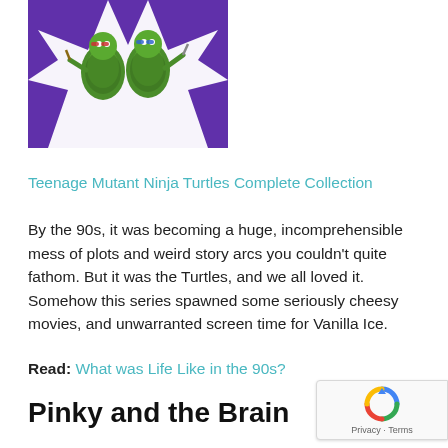[Figure (illustration): Teenage Mutant Ninja Turtles cartoon characters bursting through a purple background with torn paper effect]
Teenage Mutant Ninja Turtles Complete Collection
By the 90s, it was becoming a huge, incomprehensible mess of plots and weird story arcs you couldn't quite fathom. But it was the Turtles, and we all loved it. Somehow this series spawned some seriously cheesy movies, and unwarranted screen time for Vanilla Ice.
Read: What was Life Like in the 90s?
Pinky and the Brain
[Figure (logo): Google reCAPTCHA badge with circular arrow logo, Privacy and Terms links]